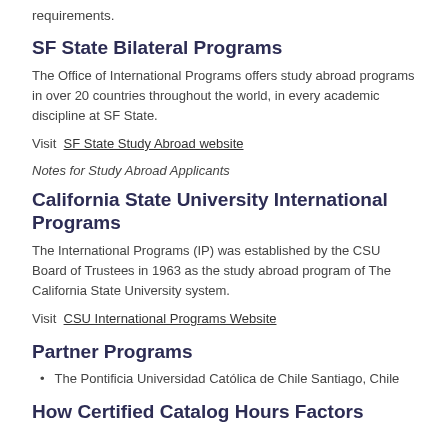requirements.
SF State Bilateral Programs
The Office of International Programs offers study abroad programs in over 20 countries throughout the world, in every academic discipline at SF State.
Visit SF State Study Abroad website
Notes for Study Abroad Applicants
California State University International Programs
The International Programs (IP) was established by the CSU Board of Trustees in 1963 as the study abroad program of The California State University system.
Visit CSU International Programs Website
Partner Programs
The Pontificia Universidad Católica de Chile Santiago, Chile
How Certified Catalog Hours Factors